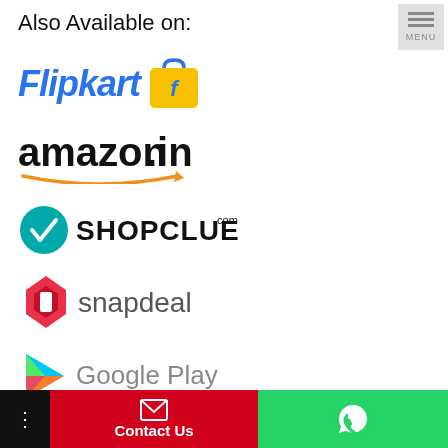Also Available on:
[Figure (logo): Flipkart logo with blue italic text and yellow shopping bag icon]
[Figure (logo): Amazon.in logo with black bold text and orange arrow underline]
[Figure (logo): ShopClues.com logo with teal checkmark icon and bold black text]
[Figure (logo): Snapdeal logo with red geometric icon and gray text]
[Figure (logo): Google Play logo with colorful triangle play button and gray text]
Contact Us
Contact Us | WhatsApp